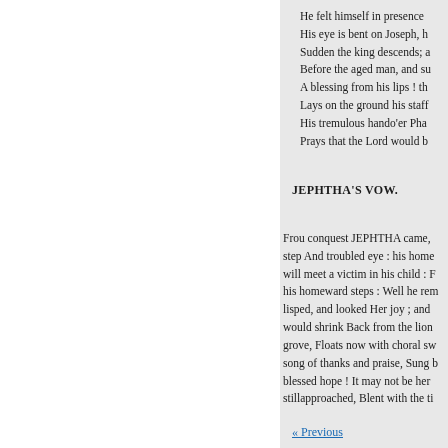He felt himself in presence
His eye is bent on Joseph, h
Sudden the king descends; a
Before the aged man, and su
A blessing from his lips ! th
Lays on the ground his staff
His tremulous hando'er Pha
Prays that the Lord would b
JEPHTHA'S VOW.
Frou conquest JEPHTHA came,
step And troubled eye : his home
will meet a victim in his child : F
his homeward steps : Well he rem
lisped, and looked Her joy ; and
would shrink Back from the lion
grove, Floats now with choral sw
song of thanks and praise, Sung b
blessed hope ! It may not be her
stillapproached, Blent with the ti
« Previous